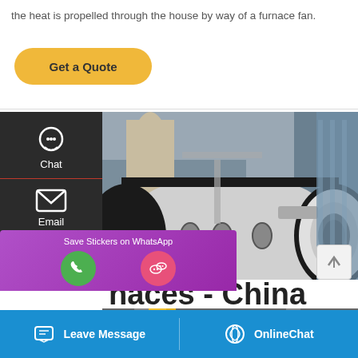the heat is propelled through the house by way of a furnace fan.
[Figure (other): Get a Quote button with gold/yellow rounded rectangle styling]
[Figure (photo): Large industrial boiler/furnace unit photographed outdoors at a factory, cylindrical horizontal vessel in black and white, with yellow pipe fittings at the front]
[Figure (other): Left sidebar with dark background showing Chat, Email, and Contact icons]
[Figure (other): WhatsApp Save Stickers popup overlay with phone and WeChat icons]
naces - China
[Figure (other): Bottom navigation bar with Leave Message and OnlineChat buttons on blue background]